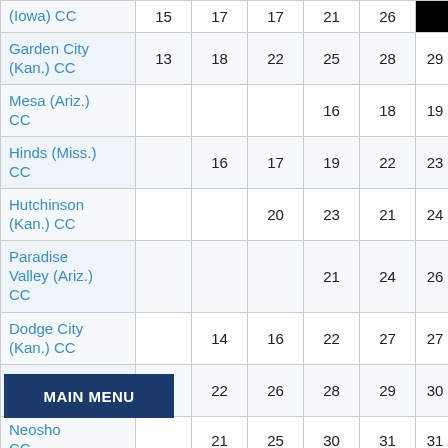| Institution | Col1 | Col2 | Col3 | Col4 | Col5 | Col6 |
| --- | --- | --- | --- | --- | --- | --- |
| (Iowa) CC | 15 | 17 | 17 | 21 | 26 | 28 |
| Garden City (Kan.) CC | 13 | 18 | 22 | 25 | 28 | 29 |
| Mesa (Ariz.) CC |  |  |  | 16 | 18 | 19 |
| Hinds (Miss.) CC |  | 16 | 17 | 19 | 22 | 23 |
| Hutchinson (Kan.) CC |  |  | 20 | 23 | 21 | 24 |
| Paradise Valley (Ariz.) CC |  |  |  | 21 | 24 | 26 |
| Dodge City (Kan.) CC |  | 14 | 16 | 22 | 27 | 27 |
| Northwest Kansas Tech | 16 | 22 | 26 | 28 | 29 | 30 |
| Neosho... CC |  | 21 | 25 | 30 | 31 | 31 |